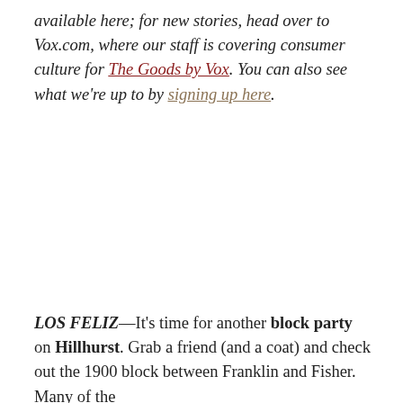available here; for new stories, head over to Vox.com, where our staff is covering consumer culture for The Goods by Vox. You can also see what we're up to by signing up here.
LOS FELIZ—It's time for another block party on Hillhurst. Grab a friend (and a coat) and check out the 1900 block between Franklin and Fisher. Many of the